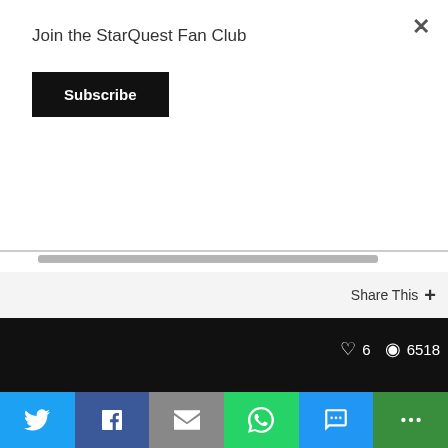×
Join the StarQuest Fan Club
Subscribe
Share This +
APR
17
♥ 6   👁 6518
🏷 Jimmy Akin's Mysterious World, Mysterious World 1-100
← Smartphone Contact Tracing
Let's Talk with Lindsay Sant and Steve Nelson (April 17, 2020) →
[Figure (screenshot): Social share bottom bar with Twitter, Facebook, Email, WhatsApp, SMS, and More buttons]